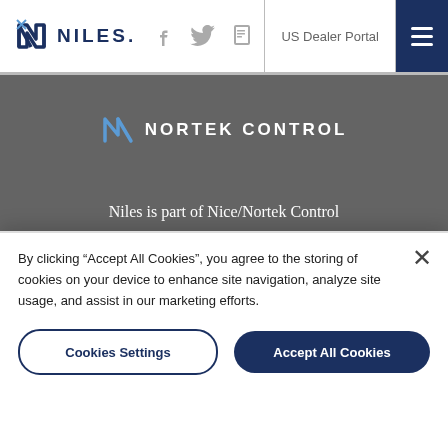[Figure (logo): Niles brand logo with stylized N icon and NILES. text in dark navy]
US Dealer Portal
[Figure (logo): Nortek Control logo with blue angular N icon and NORTEK CONTROL text in white on dark grey background]
Niles is part of Nice/Nortek Control
© 2022 Nortek Security & Control
Company Website | Terms & Privacy Policy
WARNING: Cancer and Reproductive Harm –
By clicking "Accept All Cookies", you agree to the storing of cookies on your device to enhance site navigation, analyze site usage, and assist in our marketing efforts.
Cookies Settings
Accept All Cookies